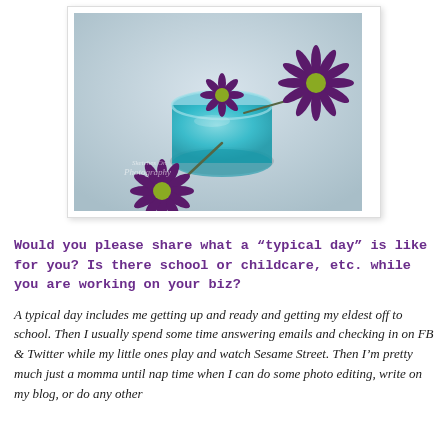[Figure (photo): A photograph of dark purple daisy-like flowers resting on and beside a small round glass jar filled with teal/blue liquid, on a light gray background. A watermark reads 'Sketches On Photography'.]
Would you please share what a “typical day” is like for you? Is there school or childcare, etc. while you are working on your biz?
A typical day includes me getting up and ready and getting my eldest off to school. Then I usually spend some time answering emails and checking in on FB & Twitter while my little ones play and watch Sesame Street. Then I’m pretty much just a momma until nap time when I can do some photo editing, write on my blog, or do any other